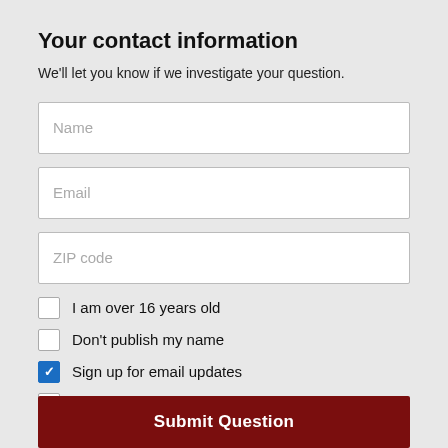Your contact information
We'll let you know if we investigate your question.
Name
Email
ZIP code
I am over 16 years old
Don't publish my name
Sign up for email updates
I accept the Terms of Service
Submit Question